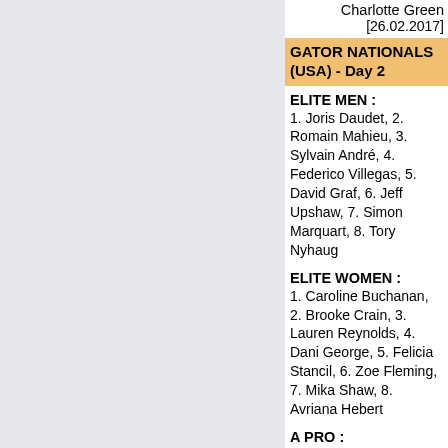Charlotte Green
[26.02.2017]
GATOR NATIONALS (USA) - Day 2
ELITE MEN : 1. Joris Daudet, 2. Romain Mahieu, 3. Sylvain André, 4. Federico Villegas, 5. David Graf, 6. Jeff Upshaw, 7. Simon Marquart, 8. Tory Nyhaug
ELITE WOMEN : 1. Caroline Buchanan, 2. Brooke Crain, 3. Lauren Reynolds, 4. Dani George, 5. Felicia Stancil, 6. Zoe Fleming, 7. Mika Shaw, 8. Avriana Hebert
A PRO : 1. Theo Chapelle, 2. Cameron Moore, 3. Jukia Yoshimura, 4. Alex Tougas, 5. Layne Gainer, 6.Mattia Furlan, 7. Walker Finch, 8. Menardo